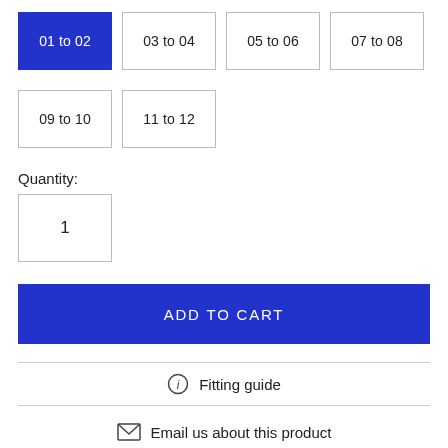01 to 02 (active/selected), 03 to 04, 05 to 06, 07 to 08
09 to 10, 11 to 12
Quantity:
1
ADD TO CART
Fitting guide
Email us about this product